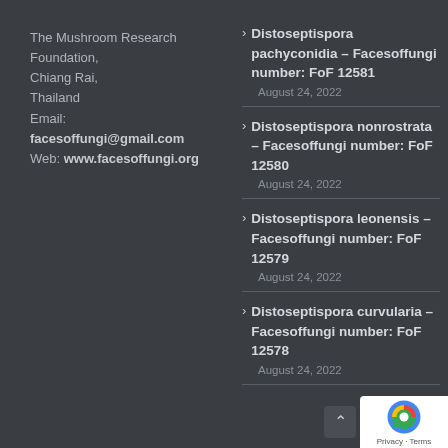The Mushroom Research Foundation,
Chiang Rai,
Thailand
Email:
facesoffungi@gmail.com
Web: www.facesoffungi.org
Distoseptispora pachyconidia – Facesoffungi number: FoF 12581
August 24, 2022
Distoseptispora nonrostrata – Facesoffungi number: FoF 12580
August 24, 2022
Distoseptispora leonensis – Facesoffungi number: FoF 12579
August 24, 2022
Distoseptispora curvularia – Facesoffungi number: FoF 12578
August 24, 2022